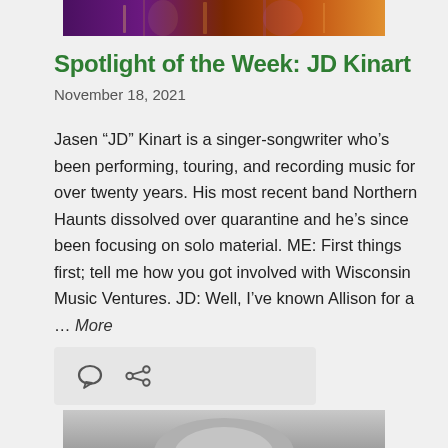[Figure (photo): Top portion of a concert/music photo with colorful stage lighting in purple and orange hues]
Spotlight of the Week: JD Kinart
November 18, 2021
Jasen “JD” Kinart is a singer-songwriter who’s been performing, touring, and recording music for over twenty years. His most recent band Northern Haunts dissolved over quarantine and he’s since been focusing on solo material. ME: First things first; tell me how you got involved with Wisconsin Music Ventures. JD: Well, I’ve known Allison for a … More
[Figure (screenshot): Icon bar with comment bubble icon and share/link icon on a light gray background]
[Figure (photo): Bottom portion of a black and white photo, partially visible, showing a curved or rounded subject]